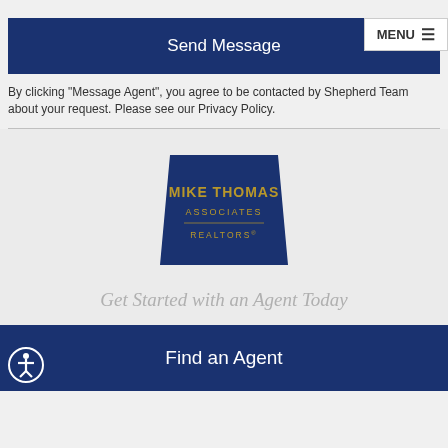MENU ≡
Send Message
By clicking "Message Agent", you agree to be contacted by Shepherd Team about your request. Please see our Privacy Policy.
[Figure (logo): Mike Thomas Associates Realtors logo - dark blue trapezoid shape with gold text reading MIKE THOMAS ASSOCIATES REALTORS®]
Get Started with an Agent Today
Find an Agent